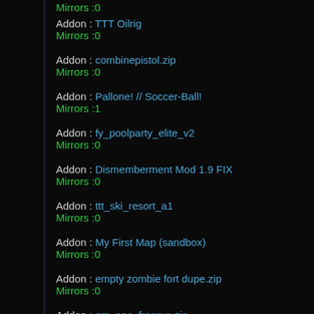Addon : TTT Oilrig
Mirrors :0
Addon : combinepistol.zip
Mirrors :0
Addon : Pallone! // Soccer-Ball!
Mirrors :1
Addon : fy_poolparty_elite_v2
Mirrors :0
Addon : Dismemberment Mod 1.9 FIX
Mirrors :0
Addon : ttt_ski_resort_a1
Mirrors :0
Addon : My First Map (sandbox)
Mirrors :0
Addon : empty zombie fort dupe.zip
Mirrors :0
Addon : gm_npc_freerun.zip